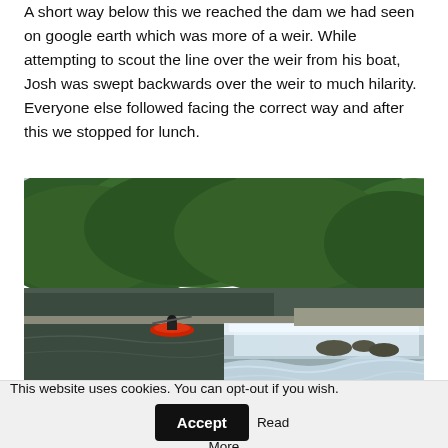A short way below this we reached the dam we had seen on google earth which was more of a weir. While attempting to scout the line over the weir from his boat, Josh was swept backwards over the weir to much hilarity. Everyone else followed facing the correct way and after this we stopped for lunch.
[Figure (photo): Outdoor photo showing a kayaker in a red kayak going over a wide weir/dam on a river, with dense green forested hills in the background. White water cascades over the weir drop.]
Josh past the point of no return
This website uses cookies. You can opt-out if you wish.  Accept  Read More